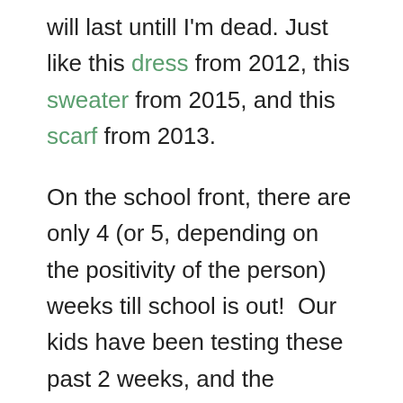will last untill I'm dead. Just like this dress from 2012, this sweater from 2015, and this scarf from 2013.
On the school front, there are only 4 (or 5, depending on the positivity of the person) weeks till school is out!  Our kids have been testing these past 2 weeks, and the teachers have been feeling the testing fatigue. Testing at our school means 100 min blocks, all day every day for 2 weeks. I love my kids, but these blocks have felt extra long these days. I have also been planning these class blocks packed with super relaxing and chill activities such as annotating scientific texts